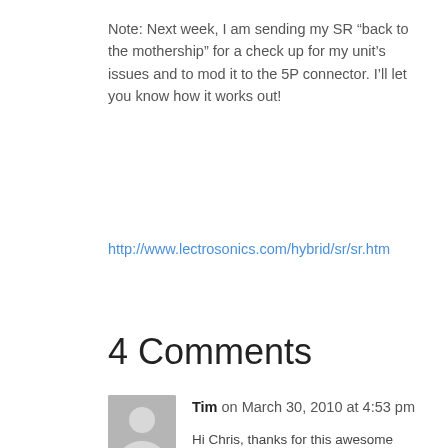Note: Next week, I am sending my SR “back to the mothership” for a check up for my unit’s issues and to mod it to the 5P connector. I’ll let you know how it works out!
http://www.lectrosonics.com/hybrid/sr/sr.htm
4 Comments
Tim on March 30, 2010 at 4:53 pm
Hi Chris, thanks for this awesome review.

just wondering how you have found your SRa subsequent to writing this? Do you still find that it has significantly poorer performance than the 411’s? I am keen on buying one, as you say, 2 receivers in one unit is a major drawcard, as is